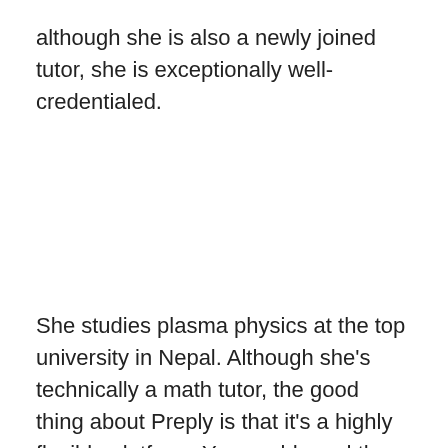although she is also a newly joined tutor, she is exceptionally well-credentialed.
She studies plasma physics at the top university in Nepal. Although she's technically a math tutor, the good thing about Preply is that it's a highly flexible platform. You could send the tutor a message and ask if she can teach you conversational Nepali. And who